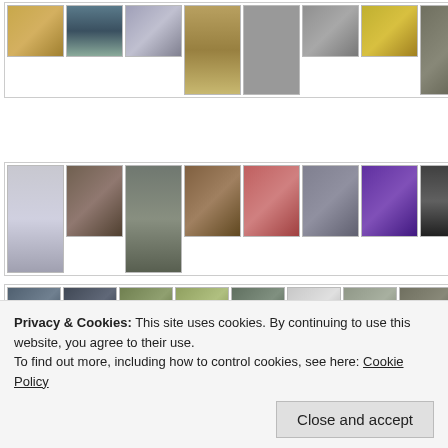[Figure (photo): Row of museum/gallery thumbnail images - paintings and art objects, first row]
[Figure (photo): Row of museum/gallery thumbnail images - ceramic vases and art objects, second row]
'Warships in a Heavy Storm' Ludolf Bakhuyse c.1695
[Figure (photo): Row of museum/gallery thumbnail images - landscape paintings, third row]
Privacy & Cookies: This site uses cookies. By continuing to use this website, you agree to their use.
To find out more, including how to control cookies, see here: Cookie Policy
Close and accept